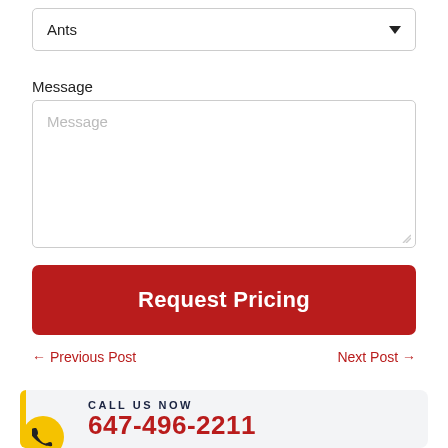Ants
Message
Message
Request Pricing
← Previous Post
Next Post →
CALL US NOW
647-496-2211